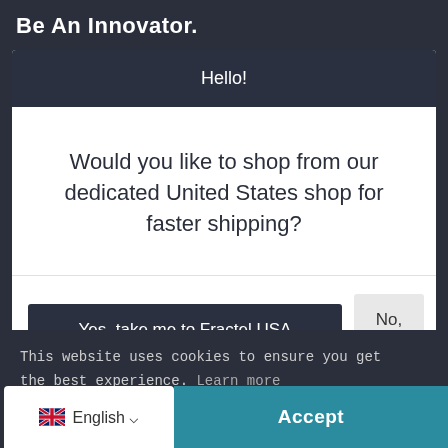Be An Innovator.
Hello!
Would you like to shop from our dedicated United States shop for faster shipping?
Yes, take me to Fractel USA
No, thanks
This website uses cookies to ensure you get the best experience. Learn more
English
Accept